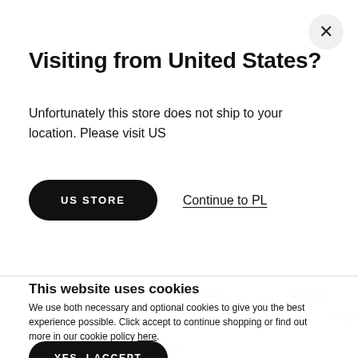Visiting from United States?
Unfortunately this store does not ship to your location. Please visit US
US STORE
Continue to PL
This website uses cookies
We use both necessary and optional cookies to give you the best experience possible. Click accept to continue shopping or find out more in our cookie policy here.
YES, I ACCEPT